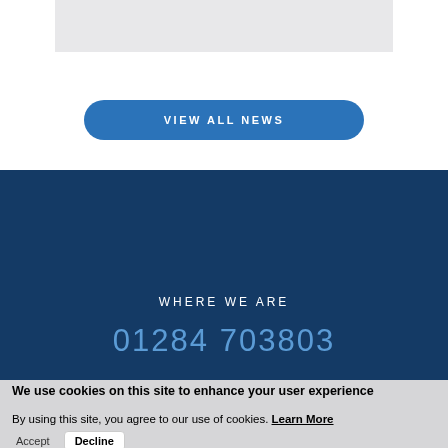[Figure (other): Light gray placeholder image region at the top of the page]
VIEW ALL NEWS
WHERE WE ARE
01284 703803
We use cookies on this site to enhance your user experience
By using this site, you agree to our use of cookies. Learn More
Accept  Decline